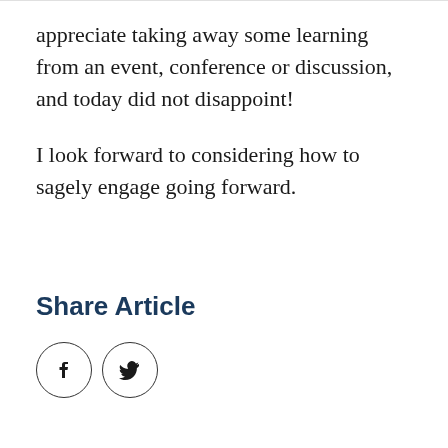appreciate taking away some learning from an event, conference or discussion, and today did not disappoint!
I look forward to considering how to sagely engage going forward.
Share Article
[Figure (illustration): Two social media sharing icons: Facebook (f) and Twitter (bird) in circular outlines]